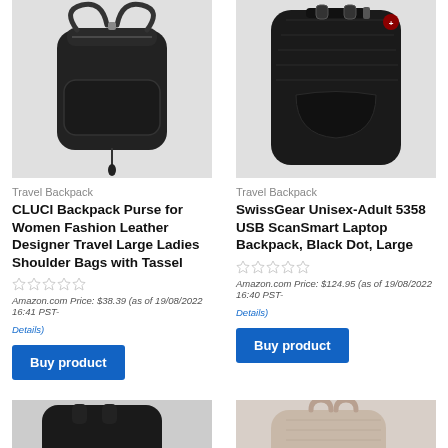[Figure (photo): CLUCI black leather backpack purse with tassel]
[Figure (photo): SwissGear black laptop backpack]
Travel Backpack
CLUCI Backpack Purse for Women Fashion Leather Designer Travel Large Ladies Shoulder Bags with Tassel
★☆☆☆☆
Amazon.com Price: $38.39 (as of 19/08/2022 16:41 PST- Details)
Buy product
Travel Backpack
SwissGear Unisex-Adult 5358 USB ScanSmart Laptop Backpack, Black Dot, Large
★☆☆☆☆
Amazon.com Price: $124.95 (as of 19/08/2022 16:40 PST- Details)
Buy product
[Figure (photo): Dark colored backpack partially shown]
Translate »
[Figure (photo): Light beige/cream colored backpack]